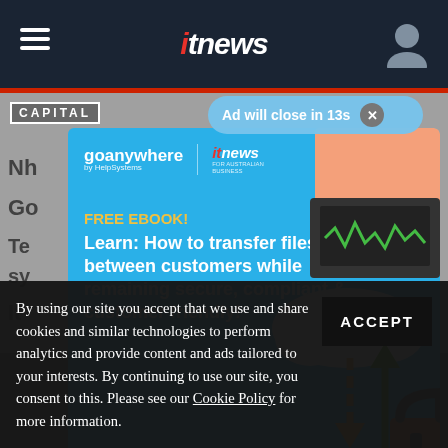[Figure (screenshot): ITnews website navigation bar with hamburger menu on left, 'itnews' logo in center, and user icon on right, on dark navy background]
[Figure (screenshot): Ad overlay on itnews website: GoAnywhere by HelpSystems free ebook ad with headline 'Learn: How to transfer files between customers while remaining secure, compliant & customer friendly!' on blue background with illustration of laptop, cloud, arrows, and lock]
Ad will close in 13s
By using our site you accept that we use and share cookies and similar technologies to perform analytics and provide content and ads tailored to your interests. By continuing to use our site, you consent to this. Please see our Cookie Policy for more information.